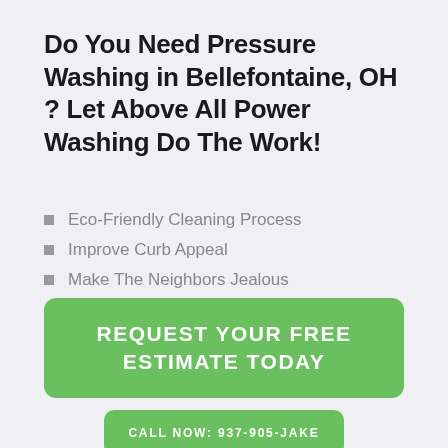Do You Need Pressure Washing in Bellefontaine, OH ? Let Above All Power Washing Do The Work!
Eco-Friendly Cleaning Process
Improve Curb Appeal
Make The Neighbors Jealous
REQUEST YOUR FREE ESTIMATE TODAY
CALL NOW: 937-905-JAKE